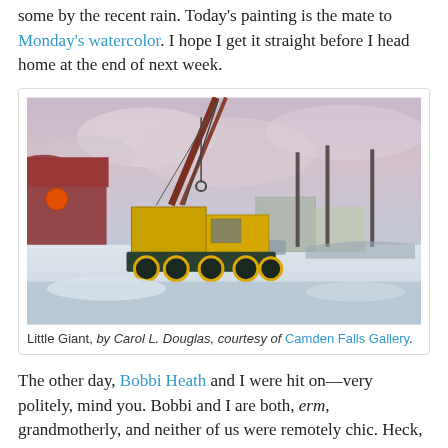some by the recent rain. Today's painting is the mate to Monday's watercolor. I hope I get it straight before I head home at the end of next week.
[Figure (illustration): Oil painting titled 'Little Giant' by Carol L. Douglas, showing a yellow crane truck at what appears to be a shipyard or harbor, with masts and industrial buildings in the background under a cloudy pinkish-grey sky.]
Little Giant, by Carol L. Douglas, courtesy of Camden Falls Gallery.
The other day, Bobbi Heath and I were hit on—very politely, mind you. Bobbi and I are both, erm, grandmotherly, and neither of us were remotely chic. Heck, I never even combed my hair that morning. Then again, I never do.
"Are either of you ladies single?" he asked. Bobbi thought